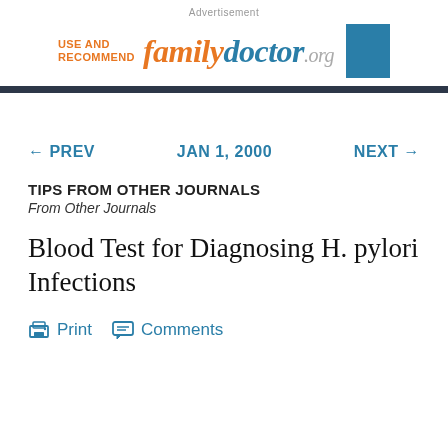Advertisement
[Figure (logo): familydoctor.org logo with 'USE AND RECOMMEND' text and blue square]
← PREV   JAN 1, 2000   NEXT →
TIPS FROM OTHER JOURNALS
From Other Journals
Blood Test for Diagnosing H. pylori Infections
Print   Comments